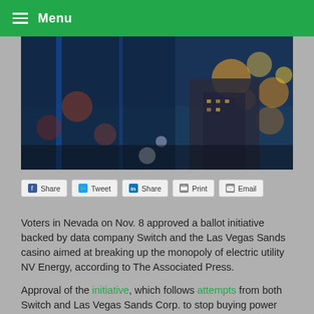Menu
[Figure (photo): Blurred nighttime photo of Las Vegas lights and buildings with blue and orange bokeh effects]
Share  Tweet  Share  Print  Email
Voters in Nevada on Nov. 8 approved a ballot initiative backed by data company Switch and the Las Vegas Sands casino aimed at breaking up the monopoly of electric utility NV Energy, according to The Associated Press.
Approval of the initiative, which follows attempts from both Switch and Las Vegas Sands Corp. to stop buying power from NV Energy, calls on Nevada lawmakers to create a framework for deregulating the state's electricity market, according to the AP report. Two other large Nevada-based commercial and industrial energy users,